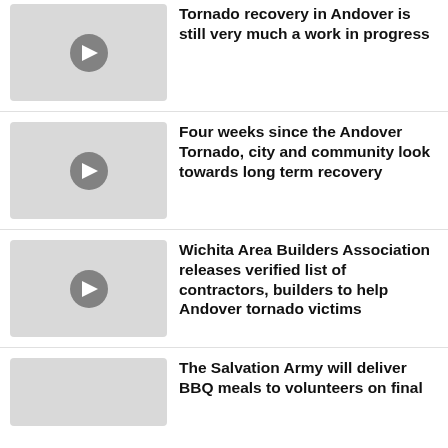[Figure (screenshot): Video thumbnail placeholder with play button]
Tornado recovery in Andover is still very much a work in progress
[Figure (screenshot): Video thumbnail placeholder with play button]
Four weeks since the Andover Tornado, city and community look towards long term recovery
[Figure (screenshot): Video thumbnail placeholder with play button]
Wichita Area Builders Association releases verified list of contractors, builders to help Andover tornado victims
[Figure (screenshot): Video thumbnail placeholder with play button (partially visible)]
The Salvation Army will deliver BBQ meals to volunteers on final